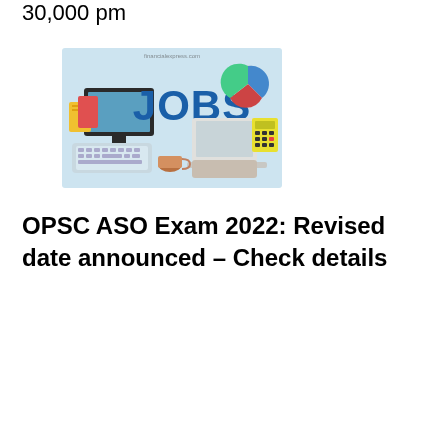30,000 pm
[Figure (illustration): Jobs-themed graphic with text 'JOBS' in large blue letters, showing laptops, keyboards, coffee cups, books, and charts on a light blue background with watermark 'financialexpress.com']
OPSC ASO Exam 2022: Revised date announced – Check details